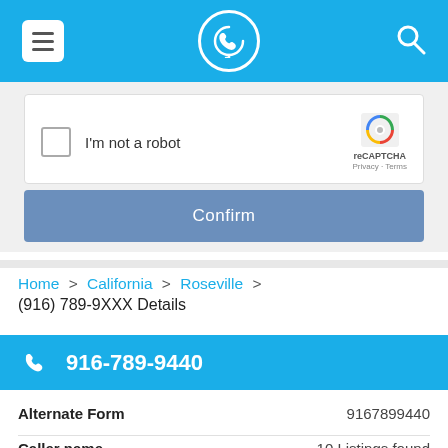[Figure (screenshot): Mobile app top navigation bar with blue background, hamburger menu icon on left, phone/location logo in center, search icon on right]
[Figure (screenshot): reCAPTCHA widget with checkbox 'I'm not a robot' and blue Confirm button]
Home > California > Roseville > (916) 789-9XXX Details
916-789-9440
Alternate Form	9167899440
Caller name	10 Listings found